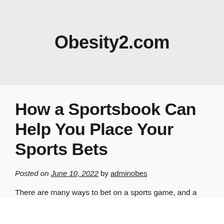Obesity2.com
How a Sportsbook Can Help You Place Your Sports Bets
Posted on June 10, 2022 by adminobes
There are many ways to bet on a sports game, and a